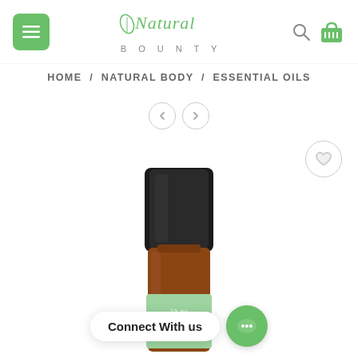Natural Bounty — navigation header with menu, logo, search, and cart icons
HOME / NATURAL BODY / ESSENTIAL OILS
[Figure (screenshot): Navigation arrows: left chevron circle and right chevron circle]
[Figure (photo): Essential oil product bottle with black cap and amber glass, green label reading 'little']
Connect With us